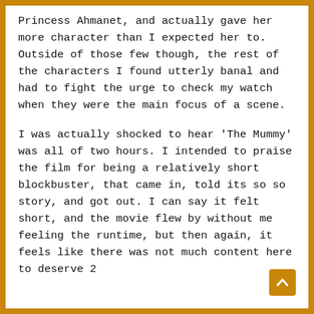Princess Ahmanet, and actually gave her more character than I expected her to. Outside of those few though, the rest of the characters I found utterly banal and had to fight the urge to check my watch when they were the main focus of a scene.
I was actually shocked to hear 'The Mummy' was all of two hours. I intended to praise the film for being a relatively short blockbuster, that came in, told its so so story, and got out. I can say it felt short, and the movie flew by without me feeling the runtime, but then again, it feels like there was not much content here to deserve 2